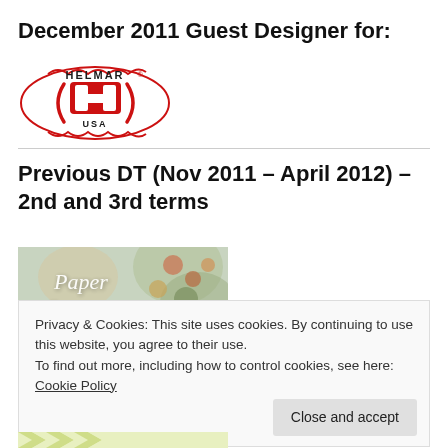December 2011 Guest Designer for:
[Figure (logo): Helmar USA logo — red oval outline with red H emblem and HELMAR text arched above, USA below]
Previous DT (Nov 2011 – April 2012) – 2nd and 3rd terms
[Figure (photo): Paper Secrets banner image with decorative flowers and vintage elements, white script text reading 'Paper Secrets']
Privacy & Cookies: This site uses cookies. By continuing to use this website, you agree to their use.
To find out more, including how to control cookies, see here: Cookie Policy
[Figure (other): Partial green and white chevron pattern strip at bottom]